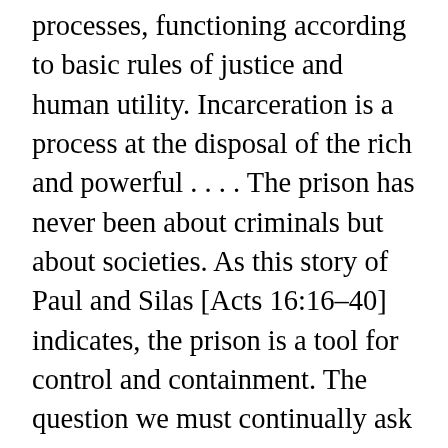processes, functioning according to basic rules of justice and human utility. Incarceration is a process at the disposal of the rich and powerful . . . . The prison has never been about criminals but about societies. As this story of Paul and Silas [Acts 16:16–40] indicates, the prison is a tool for control and containment. The question we must continually ask is, Who desires to use this tool? This question turns a searchlight toward finding who, how, and why the prison gets used. . . . This is why we are told to visit those in prison as though we ourselves were imprisoned